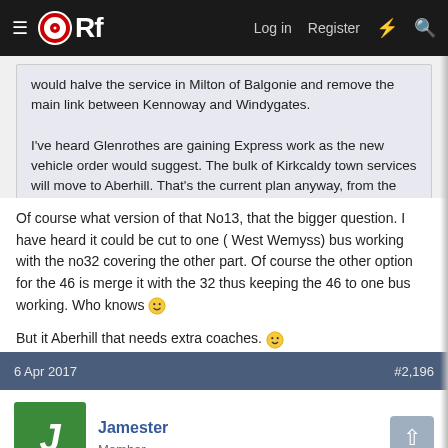ORf — Log in  Register
would halve the service in Milton of Balgonie and remove the main link between Kennoway and Windygates.

I've heard Glenrothes are gaining Express work as the new vehicle order would suggest. The bulk of Kirkcaldy town services will move to Aberhill. That's the current plan anyway, from the rumours I've heard!
Of course what version of that No13, that the bigger question. I have heard it could be cut to one ( West Wemyss) bus working with the no32 covering the other part. Of course the other option for the 46 is merge it with the 32 thus keeping the 46 to one bus working. Who knows 😀

But it Aberhill that needs extra coaches. 🙂
6 Apr 2017   #2,196
Jamester
Member